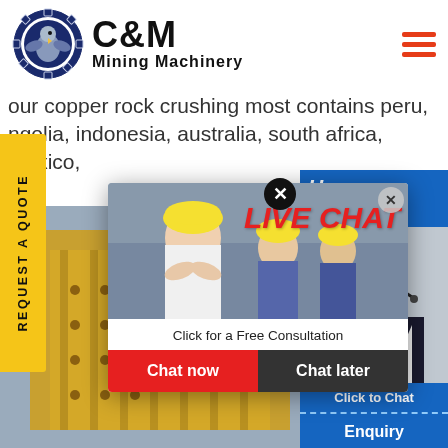[Figure (logo): C&M Mining Machinery logo with eagle in gear circle on blue background, text C&M in bold black and Mining Machinery below]
...our copper rock crushing most contains peru, ngolia, indonesia, australia, south africa, mexico, na
[Figure (infographic): Yellow sidebar with vertical text REQUEST A QUOTE]
[Figure (photo): Background photo of yellow industrial mining machinery/crusher equipment]
[Figure (infographic): Live chat popup overlay showing workers in hard hats, LIVE CHAT text in red italic, Click for a Free Consultation, Chat now (red) and Chat later (dark) buttons]
[Figure (photo): Right sidebar showing online chat agent (woman with headset), Hours Online banner in blue, Click to Chat button, Enquiry section]